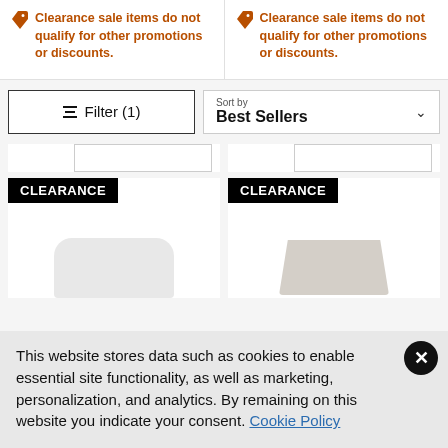Clearance sale items do not qualify for other promotions or discounts.
Clearance sale items do not qualify for other promotions or discounts.
Filter (1)
Sort by Best Sellers
[Figure (screenshot): Two product cards with CLEARANCE badges showing partial product images]
This website stores data such as cookies to enable essential site functionality, as well as marketing, personalization, and analytics. By remaining on this website you indicate your consent. Cookie Policy